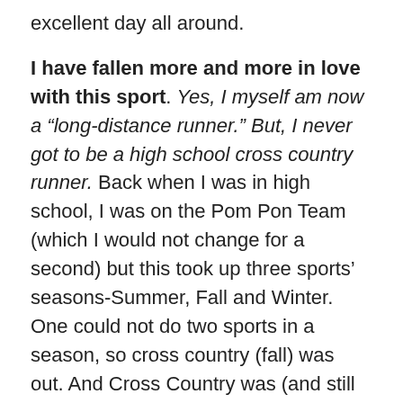excellent day all around.
I have fallen more and more in love with this sport. Yes, I myself am now a “long-distance runner.” But, I never got to be a high school cross country runner. Back when I was in high school, I was on the Pom Pon Team (which I would not change for a second) but this took up three sports’ seasons-Summer, Fall and Winter. One could not do two sports in a season, so cross country (fall) was out. And Cross Country was (and still is) huge back home in southern Wisconsin. I love being part of this sport and this community, and I love even more being able to get kids being excited to run. Our Cross Country South Zone Meet was yesterday, and we brought 15 athletes. 8 qualified for Provincials, which is hosted by Strathcona-Tweeds unit on October 18th. I am so excited to take these kids up there and run in the big show! And even though our regular